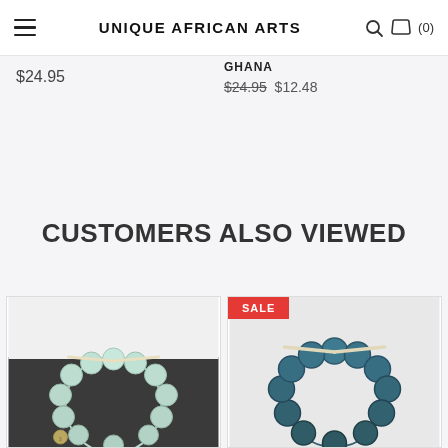UNIQUE AFRICAN ARTS
$24.95
GHANA
$24.95  $12.48
CUSTOMERS ALSO VIEWED
[Figure (photo): Light aqua/mint sea glass bead bracelet/necklace strand arranged in a circle on dark background with coin for scale]
[Figure (photo): Dark blue/teal sea glass bead bracelet/necklace strand arranged in a circle on light background, with SALE badge]